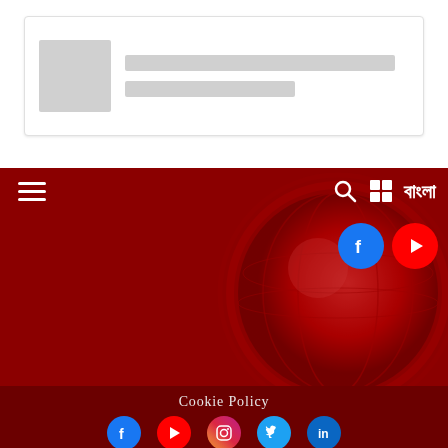[Figure (screenshot): Placeholder card with grey image box and two grey lines representing loading content]
[Figure (screenshot): Website navigation header banner with dark red/globe background, hamburger menu, search icon, Bangla text, Facebook and YouTube social icons]
Cookie Policy
[Figure (infographic): Row of 5 social media icons: Facebook, YouTube, Instagram, Twitter, LinkedIn]
Founder and Publisher : Md. Salim Khan
A Concern of Shapla Media
© copyright Voice Television 2 0 2 0 — Voice TV
Contact :
Head Office : 80/3, VIB Road, Khan Tower, Kakrail